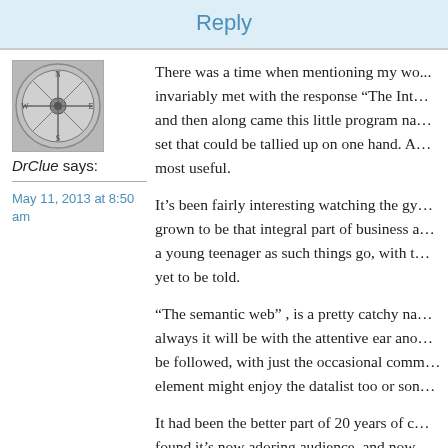Reply
[Figure (illustration): Circular avatar/logo with compass-like design in grayscale]
DrClue says:
May 11, 2013 at 8:50 am
There was a time when mentioning my wo... invariably met with the response “The Int… and then along came this little program na… set that could be tallied up on one hand. A… most useful.
It’s been fairly interesting watching the gy… grown to be that integral part of business a… a young teenager as such things go, with t… yet to be told.
“The semantic web” , is a pretty catchy na… always it will be with the attentive ear ano… be followed, with just the occasional comm… element might enjoy the datalist too or son…
It had been the better part of 20 years of c… found it’s now adoring audience, and now… since. It has to be my favorite and longest…